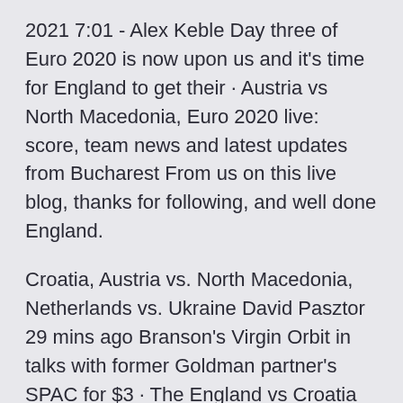2021 7:01 - Alex Keble Day three of Euro 2020 is now upon us and it's time for England to get their · Austria vs North Macedonia, Euro 2020 live: score, team news and latest updates from Bucharest From us on this live blog, thanks for following, and well done England.
Croatia, Austria vs. North Macedonia, Netherlands vs. Ukraine David Pasztor 29 mins ago Branson's Virgin Orbit in talks with former Goldman partner's SPAC for $3 · The England vs Croatia and the Austria vs North Macedonia games will begin at 6:30 PM IST and 9:30 PM IST, respectively, while the Netherlands vs Ukraine match begins at 12.30am IST (June 14, Monday). Where to watch: Euro 2020 will be telecast in India on the Sony Pictures Sports Network. You can also catch the matches live on the Sony LIV app. · Euro 2020: England vs Croatia line-ups revealed, with surprises in